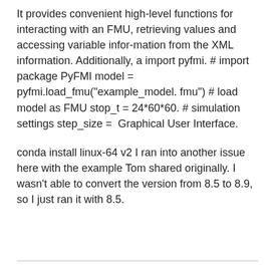It provides convenient high-level functions for interacting with an FMU, retrieving values and accessing variable infor-mation from the XML information. Additionally, a import pyfmi. # import package PyFMI model = pyfmi.load_fmu("example_model. fmu") # load model as FMU stop_t = 24*60*60. # simulation settings step_size =  Graphical User Interface.
conda install linux-64 v2 I ran into another issue here with the example Tom shared originally. I wasn't able to convert the version from 8.5 to 8.9, so I just ran it with 8.5.